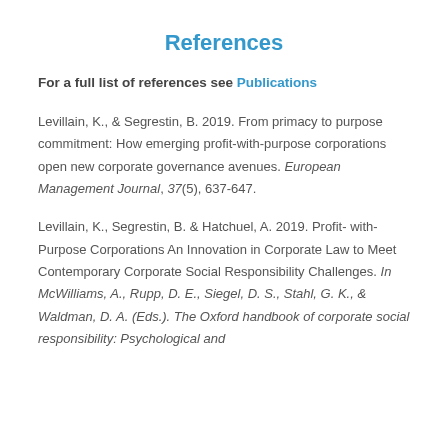References
For a full list of references see Publications
Levillain, K., & Segrestin, B. 2019. From primacy to purpose commitment: How emerging profit-with-purpose corporations open new corporate governance avenues. European Management Journal, 37(5), 637-647.
Levillain, K., Segrestin, B. & Hatchuel, A. 2019. Profit- with-Purpose Corporations An Innovation in Corporate Law to Meet Contemporary Corporate Social Responsibility Challenges. In McWilliams, A., Rupp, D. E., Siegel, D. S., Stahl, G. K., & Waldman, D. A. (Eds.). The Oxford handbook of corporate social responsibility: Psychological and